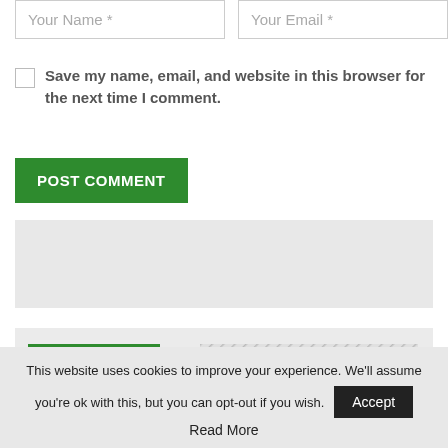Your Name *
Your Email *
Save my name, email, and website in this browser for the next time I comment.
POST COMMENT
[Figure (other): Gray advertisement banner placeholder]
[Figure (other): Gray section with FAN'S CORNER label and hatched pattern area]
This website uses cookies to improve your experience. We'll assume you're ok with this, but you can opt-out if you wish. Accept Read More